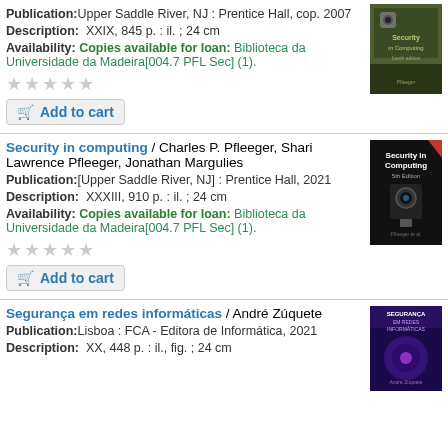Publication: Upper Saddle River, NJ : Prentice Hall, cop. 2007
Description: XXIX, 845 p. : il. ; 24 cm
Availability: Copies available for loan: Biblioteca da Universidade da Madeira[004.7 PFL Sec] (1).
[Figure (photo): Book cover: Security in Computing, fourth edition, green/brown tones]
Add to cart
Security in computing / Charles P. Pfleeger, Shari Lawrence Pfleeger, Jonathan Margulies
Publication: [Upper Saddle River, NJ] : Prentice Hall, 2021
Description: XXXIII, 910 p. : il. ; 24 cm
Availability: Copies available for loan: Biblioteca da Universidade da Madeira[004.7 PFL Sec] (1).
[Figure (photo): Book cover: Security in Computing, fifth edition, dark with camera lock]
Add to cart
Segurança em redes informáticas / André Zúquete
Publication: Lisboa : FCA - Editora de Informática, 2021
Description: XX, 448 p. : il., fig. ; 24 cm
[Figure (photo): Book cover: Segurança em Redes Informáticas, purple tones]